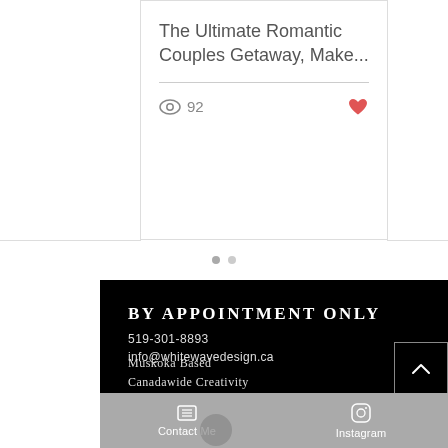The Ultimate Romantic Couples Getaway, Make...
92
BY APPOINTMENT ONLY
519-301-8893
info@whitewavedesign.ca
Muskoka Based
Canadawide Creativity
Contact Me
Instagram